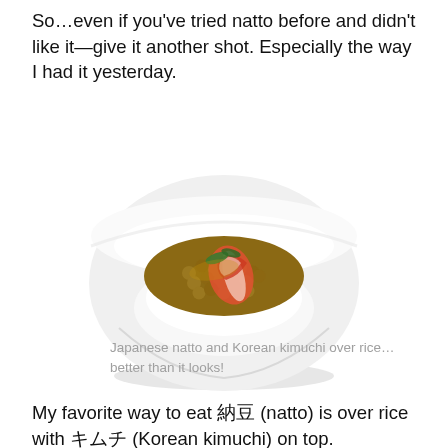So…even if you've tried natto before and didn't like it—give it another shot. Especially the way I had it yesterday.
[Figure (photo): A white bowl containing white rice topped with Japanese natto (fermented soybeans) and Korean kimchi, photographed from a slightly elevated angle on a white background.]
Japanese natto and Korean kimuchi over rice… better than it looks!
My favorite way to eat 納豆 (natto) is over rice with キムチ (Korean kimuchi) on top.